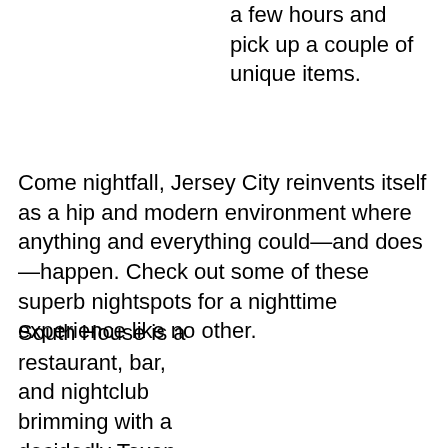a few hours and pick up a couple of unique items.
Come nightfall, Jersey City reinvents itself as a hip and modern environment where anything and everything could—and does—happen. Check out some of these superb nightspots for a nighttime experience like no other.
South House is a restaurant, bar, and nightclub brimming with a decidedly Texan